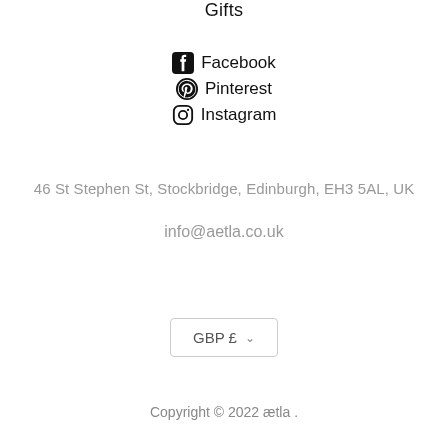Gifts
Facebook
Pinterest
Instagram
46 St Stephen St, Stockbridge, Edinburgh, EH3 5AL, UK
info@aetla.co.uk
GBP £
Copyright © 2022 ætla .